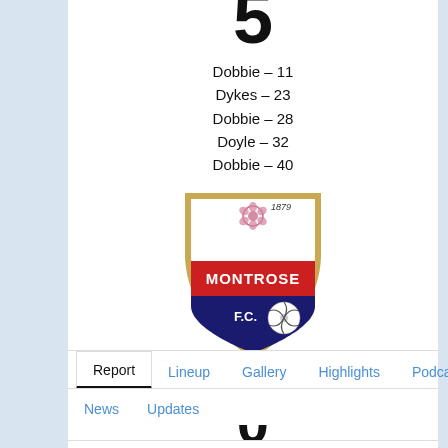5
Dobbie – 11
Dykes – 23
Dobbie – 28
Doyle – 32
Dobbie – 40
[Figure (logo): Montrose FC crest badge — shield shape, navy blue and red, with text '1879' at top, 'MONTROSE' in red band, 'F.C.' and football at bottom]
Montrose
0
Report
Lineup
Gallery
Highlights
Podcasts
News
Updates
Returning boss Allan Johnston will be more than delighted with today`s performance as his first home game since taking over